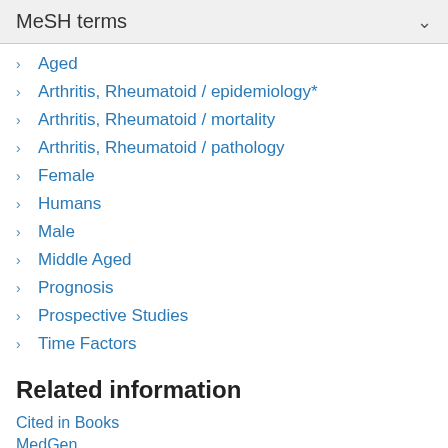MeSH terms
Aged
Arthritis, Rheumatoid / epidemiology*
Arthritis, Rheumatoid / mortality
Arthritis, Rheumatoid / pathology
Female
Humans
Male
Middle Aged
Prognosis
Prospective Studies
Time Factors
Related information
Cited in Books
MedGen